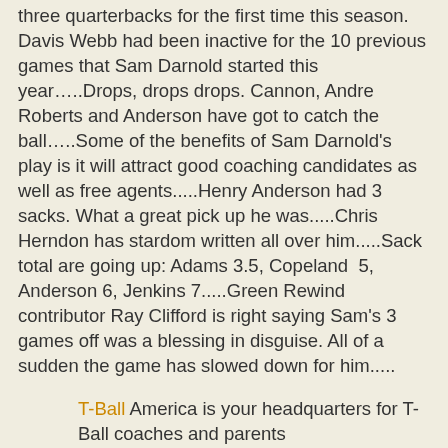three quarterbacks for the first time this season. Davis Webb had been inactive for the 10 previous games that Sam Darnold started this year…..Drops, drops drops. Cannon, Andre Roberts and Anderson have got to catch the ball…..Some of the benefits of Sam Darnold's play is it will attract good coaching candidates as well as free agents.....Henry Anderson had 3 sacks. What a great pick up he was.....Chris Herndon has stardom written all over him.....Sack total are going up: Adams 3.5, Copeland  5, Anderson 6, Jenkins 7.....Green Rewind contributor Ray Clifford is right saying Sam's 3 games off was a blessing in disguise. All of a sudden the game has slowed down for him.....
T-Ball America is your headquarters for T-Ball coaches and parents
[Figure (logo): T-BALL logo in blue bold italic letters with dark blue shadow effect on white background]